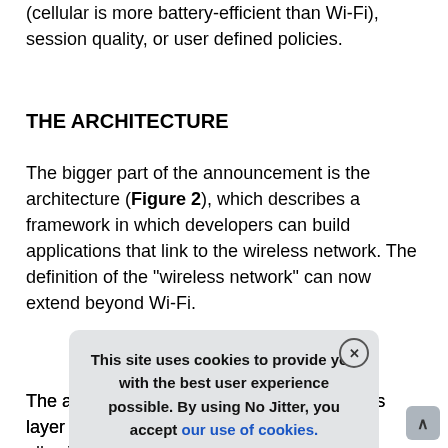(cellular is more battery-efficient than Wi-Fi), session quality, or user defined policies.
THE ARCHITECTURE
The bigger part of the announcement is the architecture (Figure 2), which describes a framework in which developers can build applications that link to the wireless network. The definition of the "wireless network" can now extend beyond Wi-Fi.
The applications access the mobility services layer over a set of [partially obscured] allowing applications [partially obscured] s to the wireless netw[partially obscured] wireless controllers us[partially obscured] Provisioning of Wireless A[partially obscured] nmunicate with the thin [partially obscured] a WLAN
This site uses cookies to provide you with the best user experience possible. By using No Jitter, you accept our use of cookies.